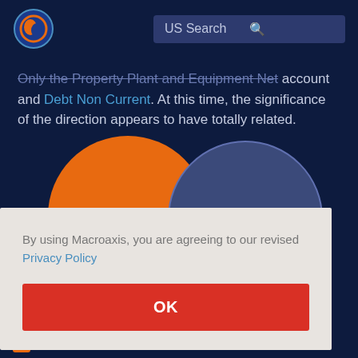US Search
Only the Property Plant and Equipment Net account and Debt Non Current. At this time, the significance of the direction appears to have totally related.
[Figure (illustration): Two large circles partially visible: an orange circle on the left and a dark purple/blue circle on the right, cropped at the bottom of the viewport]
By using Macroaxis, you are agreeing to our revised Privacy Policy
OK
Diversified Away